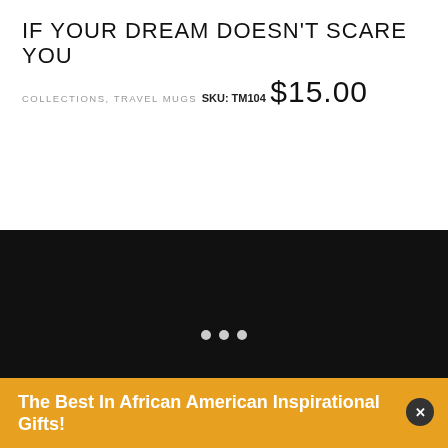IF YOUR DREAM DOESN'T SCARE YOU
COLLECTIONS, TRAVEL MUGS
SKU: TM104
$15.00
[Figure (other): Dark/black background section with three white dots (loading indicator) and a horizontal divider line]
Copyright © 2021 Shade of Color
The Best In African American Inspirational Gifts!